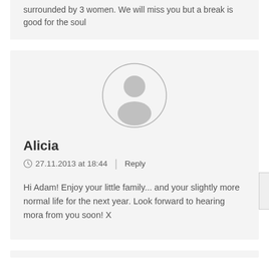surrounded by 3 women. We will miss you but a break is good for the soul
[Figure (illustration): Circular avatar placeholder with a generic user silhouette in gray]
Alicia
27.11.2013 at 18:44  |  Reply
Hi Adam! Enjoy your little family... and your slightly more normal life for the next year. Look forward to hearing mora from you soon! X